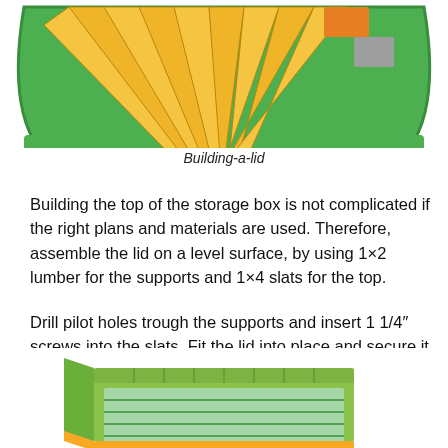[Figure (illustration): 3D illustration of a wooden storage box lid being assembled, showing yellow/tan wooden slats arranged in a fan pattern with green trim edges and orange/gray accent pieces at top right, viewed from above at an angle.]
Building-a-lid
Building the top of the storage box is not complicated if the right plans and materials are used. Therefore, assemble the lid on a level surface, by using 1×2 lumber for the supports and 1×4 slats for the top.
Drill pilot holes trough the supports and insert 1 1/4″ screws into the slats. Fit the lid into place and secure it to the bottom support with metal hinges. Check if the lid opens properly.
[Figure (illustration): 3D illustration of a completed wooden storage box with green painted exterior, showing horizontal slat top and front face, viewed from a slightly elevated front angle.]